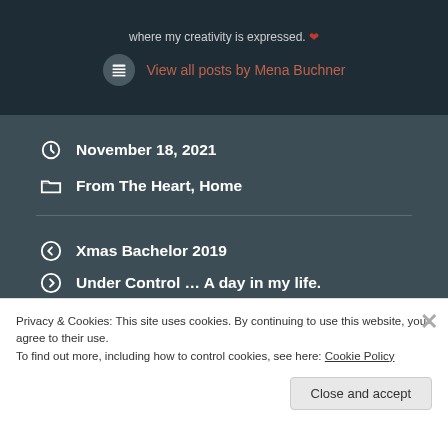where my creativity is expressed. ❤
View all posts by Mena Buchner
November 18, 2021
From The Heart, Home
Xmas Bachelor 2019
Under Control … A day in my life.
Privacy & Cookies: This site uses cookies. By continuing to use this website, you agree to their use.
To find out more, including how to control cookies, see here: Cookie Policy
Close and accept